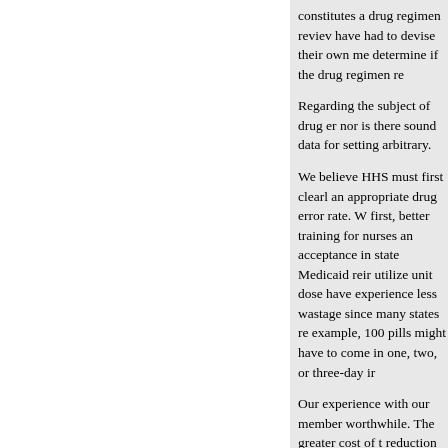constitutes a drug regimen review have had to devise their own me determine if the drug regimen re
Regarding the subject of drug er nor is there sound data for settin arbitrary.
We believe HHS must first clearl an appropriate drug error rate. W first, better training for nurses an acceptance in state Medicaid reir utilize unit dose have experience less wastage since many states re example, 100 pills might have to come in one, two, or three-day ir
Our experience with our member worthwhile. The greater cost of t reduction of medication errors, a
We suggest that the subject of ap which is currently being generate for such a project.5